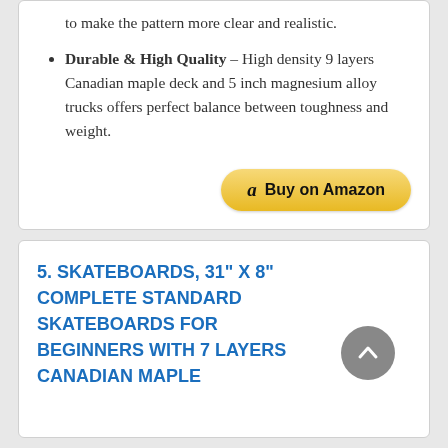to make the pattern more clear and realistic.
Durable & High Quality – High density 9 layers Canadian maple deck and 5 inch magnesium alloy trucks offers perfect balance between toughness and weight.
[Figure (other): Buy on Amazon button with Amazon logo]
5. SKATEBOARDS, 31" X 8" COMPLETE STANDARD SKATEBOARDS FOR BEGINNERS WITH 7 LAYERS CANADIAN MAPLE